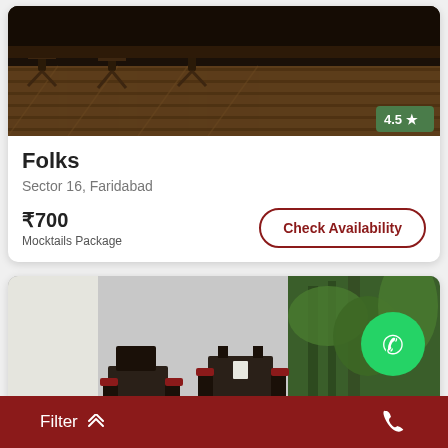[Figure (photo): Interior of a bar/restaurant with wooden stools and hardwood floor, dark ambiance, rating badge showing 4.5 stars]
Folks
Sector 16, Faridabad
₹700
Mocktails Package
Check Availability
[Figure (photo): Outdoor/patio restaurant seating area with dark wicker chairs and tables, greenery/plants in background, WhatsApp icon overlay]
Filter